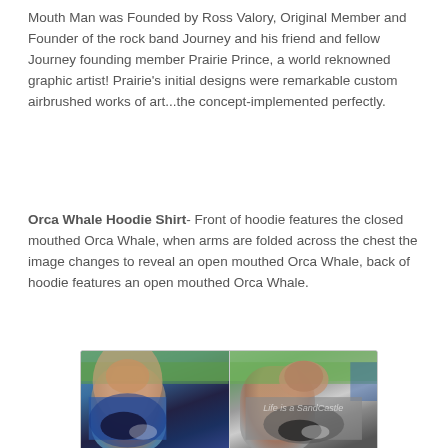Mouth Man was Founded by Ross Valory, Original Member and Founder of the rock band Journey and his friend and fellow Journey founding member Prairie Prince, a world reknowned graphic artist! Prairie's initial designs were remarkable custom airbrushed works of art...the concept-implemented perfectly.
Orca Whale Hoodie Shirt- Front of hoodie features the closed mouthed Orca Whale, when arms are folded across the chest the image changes to reveal an open mouthed Orca Whale, back of hoodie features an open mouthed Orca Whale.
[Figure (photo): Two children wearing Orca Whale hoodie shirts outdoors on grass. Left child wears a blue whale hoodie, right child wears a grey whale hoodie. Watermark reads 'Life is a SandCastle'.]